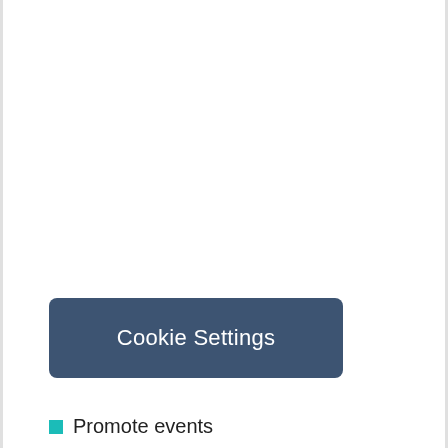Cookie Settings
Promote events